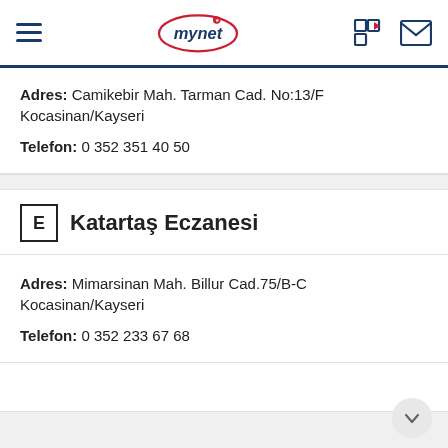mynet (logo) — navigation header
Adres: Camikebir Mah. Tarman Cad. No:13/F Kocasinan/Kayseri
Telefon: 0 352 351 40 50
E Katartaş Eczanesi
Adres: Mimarsinan Mah. Billur Cad.75/B-C Kocasinan/Kayseri
Telefon: 0 352 233 67 68